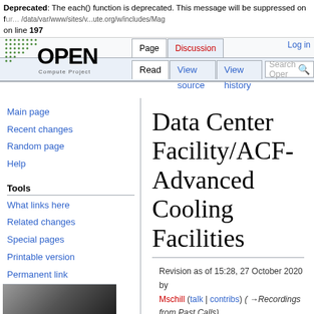Deprecated: The each() function is deprecated. This message will be suppressed on further calls in /data/var/www/sites/v...ute.org/w/includes/Mag... on line 197
Page | Discussion | Read | View source | View history | Search Open | Log in
[Figure (logo): Open Compute Project logo with green dot grid and OPEN text]
Main page
Recent changes
Random page
Help
Tools
What links here
Related changes
Special pages
Printable version
Permanent link
Page information
Data Center Facility/ACF-Advanced Cooling Facilities
Revision as of 15:28, 27 October 2020 by Mschill (talk | contribs) (→Recordings from Past Calls) (diff) ← Older revision | Latest revision (diff) | Newer revision → (diff)